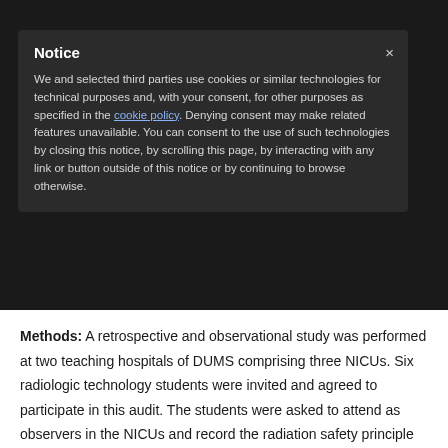Notice
We and selected third parties use cookies or similar technologies for technical purposes and, with your consent, for other purposes as specified in the cookie policy. Denying consent may make related features unavailable. You can consent to the use of such technologies by closing this notice, by scrolling this page, by interacting with any link or button outside of this notice or by continuing to browse otherwise.
Medical Sciences (DUMS), Dezful, Iran.
Methods: A retrospective and observational study was performed at two teaching hospitals of DUMS comprising three NICUs. Six radiologic technology students were invited and agreed to participate in this audit. The students were asked to attend as observers in the NICUs and record the radiation safety principle observances specified in the checklist. We also supplemented data